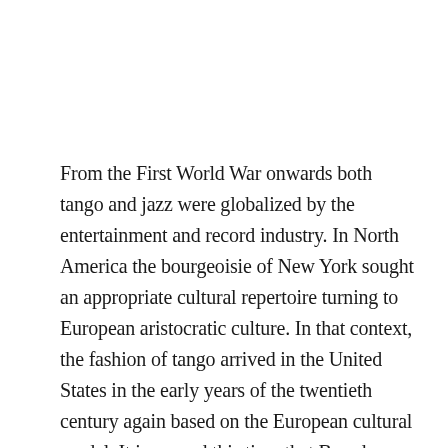From the First World War onwards both tango and jazz were globalized by the entertainment and record industry. In North America the bourgeoisie of New York sought an appropriate cultural repertoire turning to European aristocratic culture. In that context, the fashion of tango arrived in the United States in the early years of the twentieth century again based on the European cultural model. It is around this time that Broadway became the centre of New York's nightlife, entertainment entrepreneurs emerged who quickly became cultural mediators, trading with the new leisure industry.